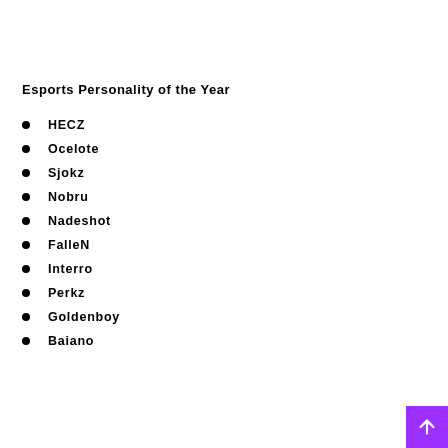Esports Personality of the Year
HECZ
Ocelote
Sjokz
Nobru
Nadeshot
FalleN
Interro
Perkz
Goldenboy
Baiano